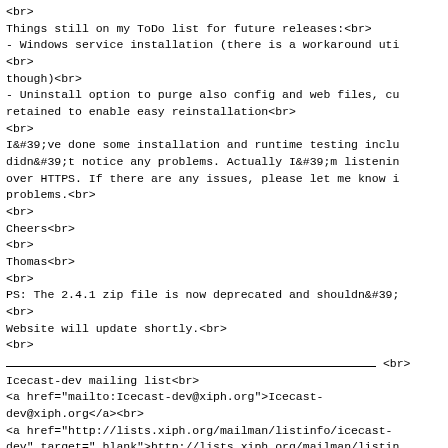<br>
Things still on my ToDo list for future releases:<br>
- Windows service installation (there is a workaround uti
<br>
though)<br>
- Uninstall option to purge also config and web files, cu
retained to enable easy reinstallation<br>
<br>
I&#39;ve done some installation and runtime testing inclu
didn&#39;t notice any problems. Actually I&#39;m listenin
over HTTPS. If there are any issues, please let me know i
problems.<br>
<br>
Cheers<br>
<br>
Thomas<br>
<br>
PS: The 2.4.1 zip file is now deprecated and shouldn&#39;
<br>
Website will update shortly.<br>
<br>
______________________________________ <br>
Icecast-dev mailing list<br>
<a href="mailto:Icecast-dev@xiph.org">Icecast-dev@xiph.org</a><br>
<a href="http://lists.xiph.org/mailman/listinfo/icecast-dev" target="_blank">http://lists.xiph.org/mailman/listin
dev</a><br>
</blockquote></div><br></div>